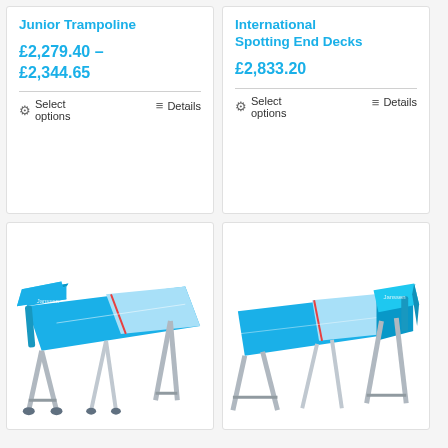Junior Trampoline
£2,279.40 – £2,344.65
Select options | Details
International Spotting End Decks
£2,833.20
Select options | Details
[Figure (photo): Blue trampoline with spotting end deck, silver legs and wheels, viewed from an angle]
[Figure (photo): Blue trampoline with spotting end deck, silver A-frame legs, viewed from a different angle]